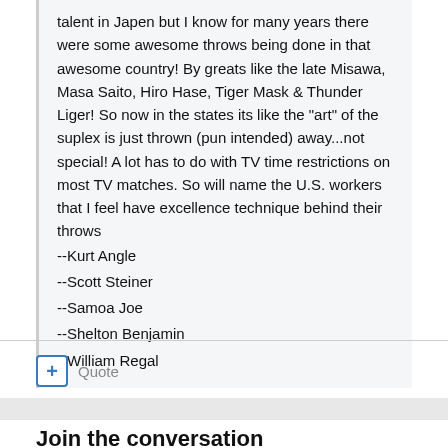talent in Japen but I know for many years there were some awesome throws being done in that awesome country! By greats like the late Misawa, Masa Saito, Hiro Hase, Tiger Mask & Thunder Liger! So now in the states its like the "art" of the suplex is just thrown (pun intended) away...not special! A lot has to do with TV time restrictions on most TV matches. So will name the U.S. workers that I feel have excellence technique behind their throws
--Kurt Angle
--Scott Steiner
--Samoa Joe
--Shelton Benjamin
--William Regal
Quote
Join the conversation
You can post now and register later. If you have an account,